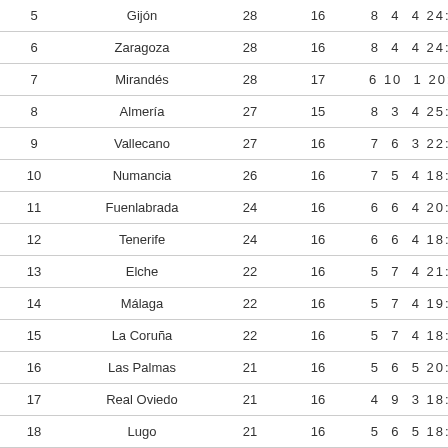| # | Team | Pts | GP | W D L Score |
| --- | --- | --- | --- | --- |
| 5 | Gijón | 28 | 16 | 8 4 4 24:14 |
| 6 | Zaragoza | 28 | 16 | 8 4 4 24:15 |
| 7 | Mirandés | 28 | 17 | 6 10 1 20:13 |
| 8 | Almería | 27 | 15 | 8 3 4 25:13 |
| 9 | Vallecano | 27 | 16 | 7 6 3 22:16 |
| 10 | Numancia | 26 | 16 | 7 5 4 18:11 |
| 11 | Fuenlabrada | 24 | 16 | 6 6 4 20:17 |
| 12 | Tenerife | 24 | 16 | 6 6 4 18:16 |
| 13 | Elche | 22 | 16 | 5 7 4 21:17 |
| 14 | Málaga | 22 | 16 | 5 7 4 19:17 |
| 15 | La Coruña | 22 | 16 | 5 7 4 18:20 |
| 16 | Las Palmas | 21 | 16 | 5 6 5 20:19 |
| 17 | Real Oviedo | 21 | 16 | 4 9 3 18:17 |
| 18 | Lugo | 21 | 16 | 5 6 5 18:24 |
| 19 | Albacete | 17 | 16 | 4 5 7 11:17 |